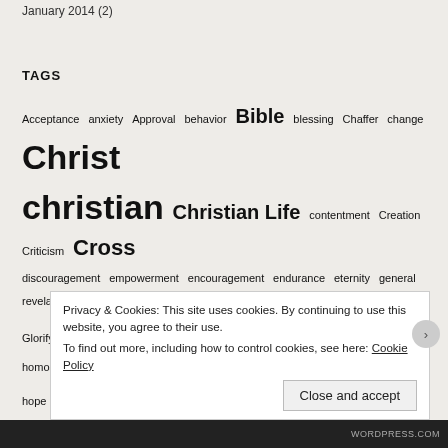January 2014 (2)
TAGS
Acceptance anxiety Approval behavior Bible blessing Chaffer change Christ christian Christian Life contentment Creation Criticism Cross discouragement empowerment encouragement endurance eternity general revelation Glorify Glory God God's Sovereignty Grace Holiness Holy Spirit homosexuality hope identity inadequacy James Jesus judgment Justice knowledge love medication Mercy missions people perspective Power prayer purpose Quitting Religion Revelation Salvation sanctification Scofield Scripture service sin
Privacy & Cookies: This site uses cookies. By continuing to use this website, you agree to their use.
To find out more, including how to control cookies, see here: Cookie Policy
Close and accept